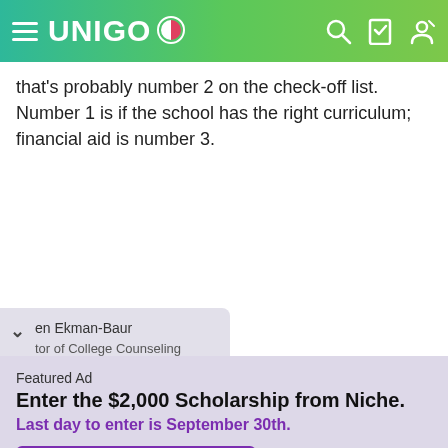UNIGO
that's probably number 2 on the check-off list. Number 1 is if the school has the right curriculum; financial aid is number 3.
en Ekman-Baur
tor of College Counseling
Featured Ad
Enter the $2,000 Scholarship from Niche.
Last day to enter is September 30th.
APPLY NOW!